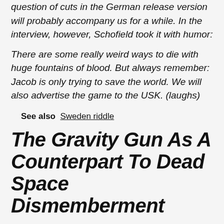question of cuts in the German release version will probably accompany us for a while. In the interview, however, Schofield took it with humor:
There are some really weird ways to die with huge fountains of blood. But always remember: Jacob is only trying to save the world. We will also advertise the game to the USK. (laughs)
See also  Sweden riddle
The Gravity Gun As A Counterpart To Dead Space Dismemberment
We remember: In Dead Space, thanks to the strategic dismemberment – opponents were slowed down by